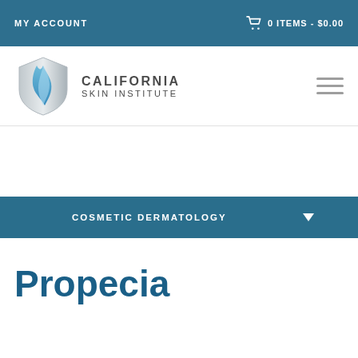MY ACCOUNT
0 ITEMS - $0.00
[Figure (logo): California Skin Institute logo — shield shape with blue wave, text CALIFORNIA SKIN INSTITUTE]
COSMETIC DERMATOLOGY
Propecia